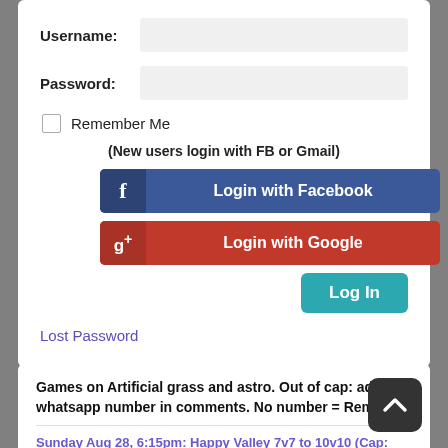Username:
Password:
Remember Me
(New users login with FB or Gmail)
[Figure (screenshot): Login with Facebook button (blue)]
[Figure (screenshot): Login with Google button (red)]
[Figure (screenshot): Log In button (teal)]
Lost Password
Games on Artificial grass and astro. Out of cap: add whatsapp number in comments. No number = Removal
Sunday Aug 28, 6:15pm: Happy Valley 7v7 to 10v10 (Cap: 20)Pitch 8 - CHANGED TO PITCH 8 -